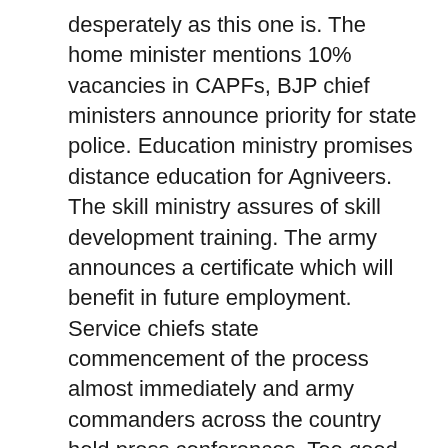desperately as this one is. The home minister mentions 10% vacancies in CAPFs, BJP chief ministers announce priority for state police. Education ministry promises distance education for Agniveers. The skill ministry assures of skill development training. The army announces a certificate which will benefit in future employment. Service chiefs state commencement of the process almost immediately and army commanders across the country hold press conferences. Too good to be true.
Why? Would this be needed if the scheme was a game changer and beneficial. Are pitfalls of Agnipath being hidden? The manner in which it is being pushed indicates that the scheme has been bulldozed down the throats of the forces and now masses are being convinced employing the armed forces brass, exploiting the nation's respect for